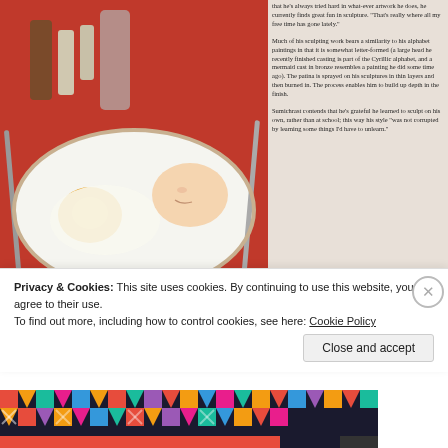[Figure (photo): Scanned magazine page showing a surrealist airbrush painting — a sleeping baby on a plate alongside a fried egg, condiment bottles, and cutlery on a red surface. Artist signature 'jozef' visible bottom right of painting.]
that the 's always tried hard in what-ever artwork he does, he currently finds great fun in sculpture. "That's really where all my free time has gone lately."

Much of his sculpting work bears a similarity to his alphabet paintings in that it is somewhat letter-formed (a large head he recently finished casting is part of the Cyrillic alphabet, and a mermaid cast in bronze resembles a painting he did some time ago). The patina is sprayed on his sculptures in thin layers and then burned in. The process enables him to build up depth in the finish.

Sumichrast contends that he's grateful he learned to sculpt on his own, rather than at school; this way his style "was not corrupted by learning some things I'd have to unlearn."
16  AIRBRUSH ACTION / JAN.-FEB 1993
Airbrush Action. January-February 1993.
Jozef Sumichrast
[Figure (photo): Colorful geometric/ethnic patterned artwork — abstract design with triangles, X shapes, and bold colors including black, red, yellow, teal, pink on dark background.]
Privacy & Cookies: This site uses cookies. By continuing to use this website, you agree to their use.
To find out more, including how to control cookies, see here: Cookie Policy
Close and accept